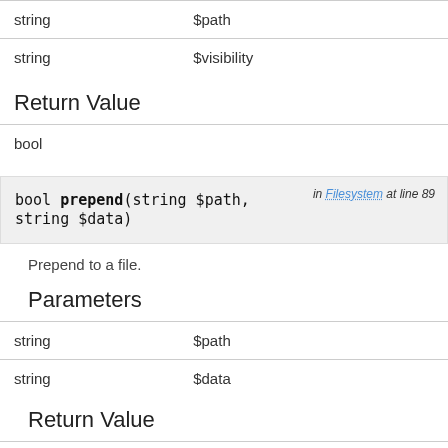| string | $path |
| string | $visibility |
Return Value
| bool |  |
bool prepend(string $path, string $data)   in Filesystem at line 89
Prepend to a file.
Parameters
| string | $path |
| string | $data |
Return Value
| bool |  |